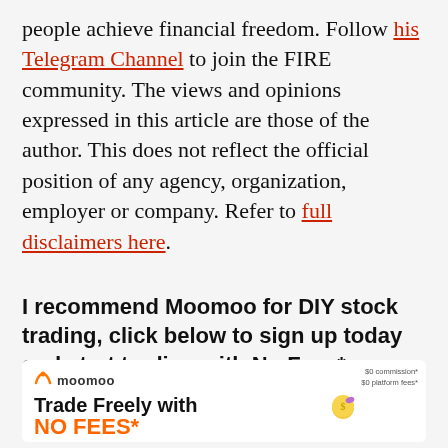people achieve financial freedom. Follow his Telegram Channel to join the FIRE community. The views and opinions expressed in this article are those of the author. This does not reflect the official position of any agency, organization, employer or company. Refer to full disclaimers here.
I recommend Moomoo for DIY stock trading, click below to sign up today and start trading with No Fees*
[Figure (logo): Moomoo advertisement banner showing 'Trade Freely with NO FEES*' text with orange accent color and decorative coin/pill graphic]